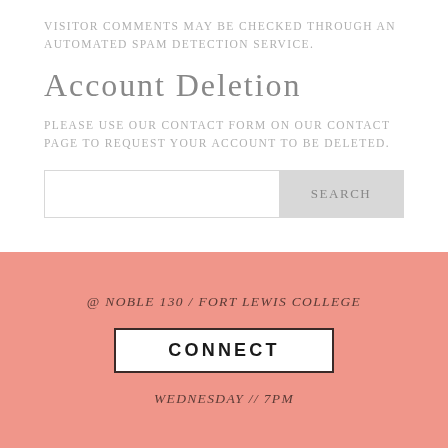Visitor comments may be checked through an automated spam detection service.
Account Deletion
Please use our contact form on our contact page to request your account to be deleted.
Search
@ Noble 130 / Fort Lewis College
Connect
Wednesday // 7pm